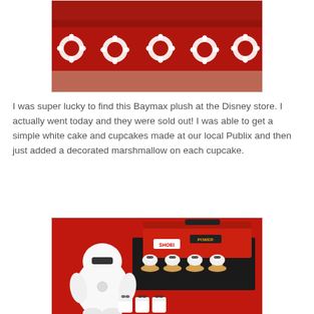[Figure (photo): Party table covered with a red tablecloth decorated with white paper gear/snowflake cutouts along the front edge]
I was super lucky to find this Baymax plush at the Disney store. I actually went today and they were sold out! I was able to get a simple white cake and cupcakes made at our local Publix and then just added a decorated marshmallow on each cupcake.
[Figure (photo): Baymax plush toy displayed on a red tablecloth next to cupcakes with Baymax marshmallow decorations and a red Craftsman toolbox in the background]